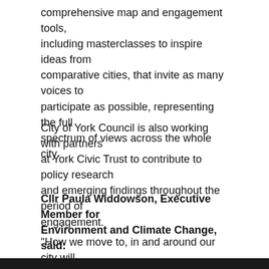comprehensive map and engagement tools, including masterclasses to inspire ideas from comparative cities, that invite as many voices to participate as possible, representing the full spectrum of views across the whole city.
City of York Council is also working with partners at York Civic Trust to contribute to policy research and emerging findings throughout the period of engagement.
Cllr Paula Widdowson, Executive Member for Environment and Climate Change, said:
"How we move to, in and around our city will inevitably change as we emerge from COVID-19 and change our way of living in response to this experience and continue to respond to the climate emergency. The purpose of any Local Transport Plan is to set out our priorities and focus for York's transport over the short and longer-term future.